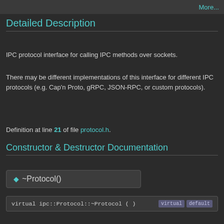More...
Detailed Description
IPC protocol interface for calling IPC methods over sockets.
There may be different implementations of this interface for different IPC protocols (e.g. Cap'n Proto, gRPC, JSON-RPC, or custom protocols).
Definition at line 21 of file protocol.h.
Constructor & Destructor Documentation
◆ ~Protocol()
virtual ipc::Protocol::~Protocol ( )    virtual    default